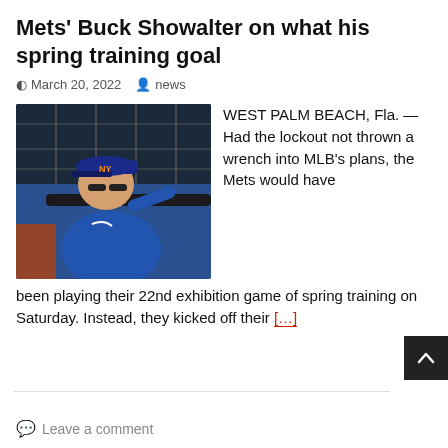Mets' Buck Showalter on what his spring training goal
March 20, 2022  news
[Figure (photo): Photo of Mets manager Buck Showalter in blue Mets uniform leaning on dugout railing, pointing, with dark background]
WEST PALM BEACH, Fla. — Had the lockout not thrown a wrench into MLB's plans, the Mets would have been playing their 22nd exhibition game of spring training on Saturday. Instead, they kicked off their […]
Leave a comment